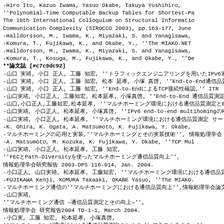-Hiro Ito, Kazuo Iwama, Yasuo Okabe, Takuya Yoshihiro,
''Polynomial-Time Computable Backup Tables for Shortest-Pa
The 10th International Colloquium on Structural Informatio
Communication Complexity (SIROCCO 2003), pp.163-177, June
-Halldorsson, M., Iwama, K., Miyazaki, S. and Yanagisawa,
-Komura, T., Fujikawa, K., and Okabe, Y., ''The MIAKO.NET
-Halldorsson, M., Iwama, K., Miyazaki, S. and Yanagisawa,
-Komura, T., Kosuga, M., Fujikawa, K., and Okabe, Y., ''De
**論文誌 [#c7c9dc92]
-山口 実靖, 小口 正人, 工藤 知宏, ''トラフィックエンジニアリングを用いたIPv6通信,'' 第13回 ITR
-山口 実靖, 小口 正人, 工藤 知宏, 松本 延孝, 小塚 真啓, ''End-to-End通信品質測定
-山口 実靖, 小口 正人, 工藤 知宏, ''End-to-End通信品質測定によるTCP接続性確認,'' ITR
-山口実靖, 小口正人, 工藤知宏, 松本延孝, 小塚真啓, ''End-to-End 通信品質測定によるIPv6
-山口,小口正人,工藤知宏,松本延孝, ''マルチホーミング環境における通信品質測定とEnd-to-Endでの
-山口実靖, 小口正人, 松本延孝, 小塚真啓, ''IPv6 end-to-end multihomingのR
-山口実靖, 小口正人, 松本延孝, ''マルチホーミング環境における通信品質測定 サービス品質,'' 第15回情報
-K. Ohira, K. Ogata, A. Matsumoto, K. Fujikawa, Y. Okabe,
-マルチホーミングの応用と実装,''マルチホーミングとその実装技術'', 情報処理学会 Vol.103, No.
-A. Matsumoto, M. Kozuka, K. Fujikawa, Y. Okabe, ''TCP Mul
-山口実靖, 小口正人, 松本延孝, 工藤 知宏,
''FECとPath-Diversityを使ったマルチホーミング通信品質向上'',
情報処理学会研究報告 2003-DPS 116-014, Jan. 2004.
-小口正人, 山口実靖, 松本延孝, 工藤知宏, ''マルチホーミング環境における通信品質測定と経路制御,
-FUJIKAWA Kenji, KOMURA Takaaki, OKABE Yasuo, ''The MIAKO.
-マルチホーミング通信の''マルチホーミングにおける通信品質向上'',情報処理学会論文誌 第20
-山口実靖,
''マルチホーミング通信 —通信品質測定とその向上—'',
情報処理学会 研究報告2004 TD-1-1, March 2004.
-小口実, 工藤 知宏, 松本延孝, 小塚真啓,
''マルチホーミング環境における通信品質測定のためのインフラストラクチャ''.